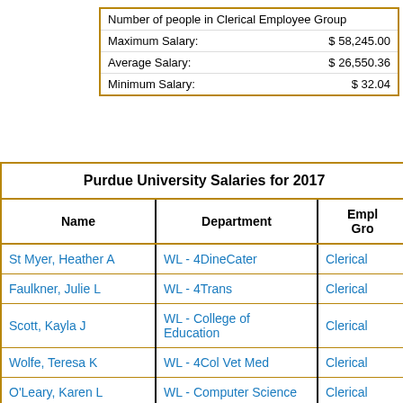|  |  |
| --- | --- |
| Number of people in Clerical Employee Group |  |
| Maximum Salary: | $ 58,245.00 |
| Average Salary: | $ 26,550.36 |
| Minimum Salary: | $ 32.04 |
Purdue University Salaries for 2017
| Name | Department | Employee Group |
| --- | --- | --- |
| St Myer, Heather A | WL - 4DineCater | Clerical |
| Faulkner, Julie L | WL - 4Trans | Clerical |
| Scott, Kayla J | WL - College of Education | Clerical |
| Wolfe, Teresa K | WL - 4Col Vet Med | Clerical |
| O'Leary, Karen L | WL - Computer Science | Clerical |